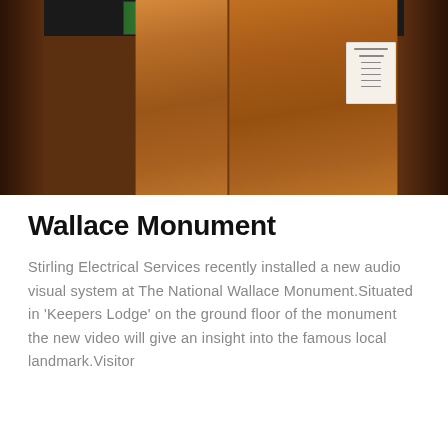[Figure (photo): Wooden elevator or cabinet doors with dark frame at top showing a screen with green image, and a small notice/certificate card on the right side. Dark wooden paneling surrounds the doors.]
Wallace Monument
Stirling Electrical Services recently installed a new audio visual system at The National Wallace Monument.Situated in 'Keepers Lodge' on the ground floor of the monument the new video will give an insight into the famous local landmark.Visitor